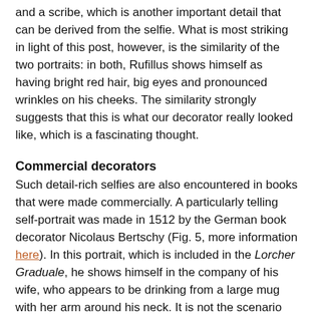and a scribe, which is another important detail that can be derived from the selfie. What is most striking in light of this post, however, is the similarity of the two portraits: in both, Rufillus shows himself as having bright red hair, big eyes and pronounced wrinkles on his cheeks. The similarity strongly suggests that this is what our decorator really looked like, which is a fascinating thought.
Commercial decorators
Such detail-rich selfies are also encountered in books that were made commercially. A particularly telling self-portrait was made in 1512 by the German book decorator Nicolaus Bertschy (Fig. 5, more information here). In this portrait, which is included in the Lorcher Graduale, he shows himself in the company of his wife, who appears to be drinking from a large mug with her arm around his neck. It is not the scenario you would expect, this rather down to earth setting where drinks and female distraction replace both decorum and concentration.